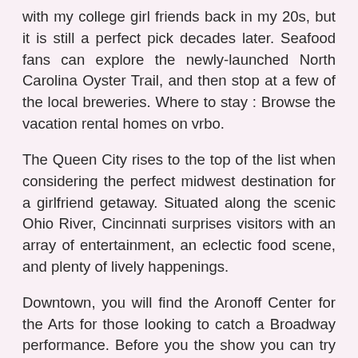with my college girl friends back in my 20s, but it is still a perfect pick decades later. Seafood fans can explore the newly-launched North Carolina Oyster Trail, and then stop at a few of the local breweries. Where to stay : Browse the vacation rental homes on vrbo.
The Queen City rises to the top of the list when considering the perfect midwest destination for a girlfriend getaway. Situated along the scenic Ohio River, Cincinnati surprises visitors with an array of entertainment, an eclectic food scene, and plenty of lively happenings.
Downtown, you will find the Aronoff Center for the Arts for those looking to catch a Broadway performance. Before you the show you can try to snag dinner reservations at nearby Sotto or Nada. A girlfriend getaway is never complete without a